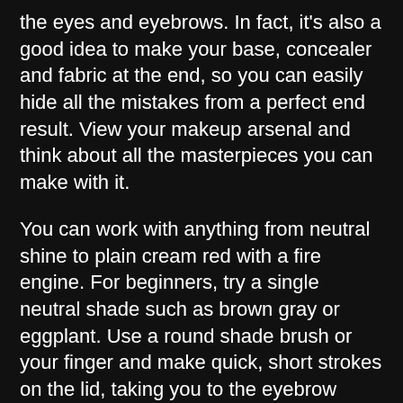the eyes and eyebrows. In fact, it's also a good idea to make your base, concealer and fabric at the end, so you can easily hide all the mistakes from a perfect end result. View your makeup arsenal and think about all the masterpieces you can make with it.
You can work with anything from neutral shine to plain cream red with a fire engine. For beginners, try a single neutral shade such as brown gray or eggplant. Use a round shade brush or your finger and make quick, short strokes on the lid, taking you to the eyebrow bone. This prevents your skin from getting too oily during the day and helps moisturize dry patches on your skin. If you know you have oily skin, do not completely skip the moisturizer; Instead, try a gel-based formula that will absorb your skin quickly.
Go for a more complete look for an applicator brush or beauty blender. Before you reach makeup, however, it is important to talk about skin care first. People often turn to